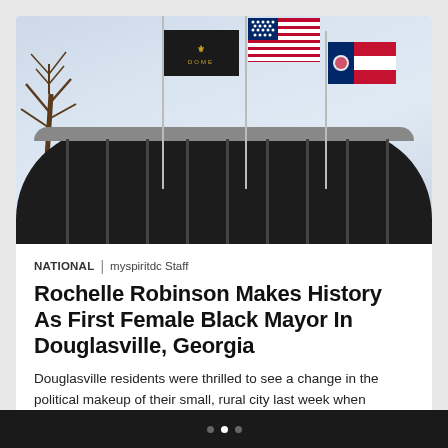[Figure (photo): Photograph of a domed building (likely a civic arena) with three flagpoles flying the American flag, a black flag with gold emblem, and the Georgia state flag, against a pale blue sky. A bare tree is visible on the left.]
NATIONAL | myspiritdc Staff
Rochelle Robinson Makes History As First Female Black Mayor In Douglasville, Georgia
Douglasville residents were thrilled to see a change in the political makeup of their small, rural city last week when Rochelle Robinson was elected mayor, making her both the first female and the first Black politician to hold the seat,